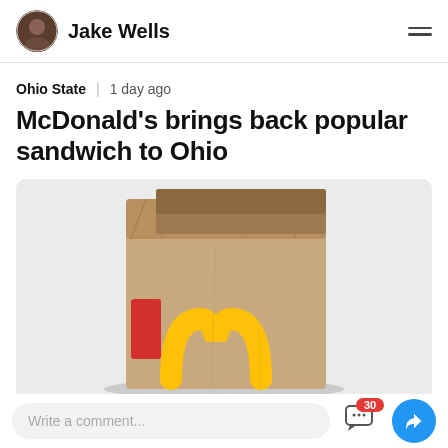Jake Wells
Ohio State | 1 day ago
McDonald's brings back popular sandwich to Ohio
[Figure (photo): A McDonald's brown paper bag with the golden arches logo and a red label, photographed against a light gray background.]
Write a comment...